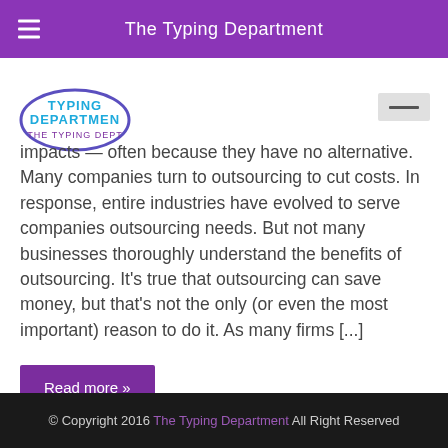The Typing Department
[Figure (logo): The Typing Department circular logo with blue and purple text]
impacts — often because they have no alternative. Many companies turn to outsourcing to cut costs. In response, entire industries have evolved to serve companies outsourcing needs. But not many businesses thoroughly understand the benefits of outsourcing. It's true that outsourcing can save money, but that's not the only (or even the most important) reason to do it. As many firms [...]
Read more »
© Copyright 2016 The Typing Department All Right Reserved